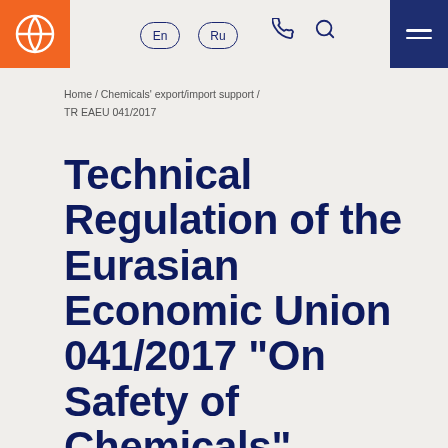En  Ru
Home / Chemicals' export/import support / TR EAEU 041/2017
Technical Regulation of the Eurasian Economic Union 041/2017 “On Safety of Chemicals”